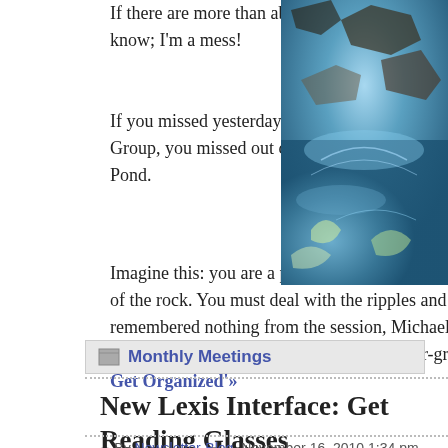If there are more than about 25, you failed the test. I can't lie, right now I have 196 items in my inbox. I know; I'm a mess!
If you missed yesterday's special program led by Michael Saint-Onge with Lexis' Library Relations Group, you missed out on a lively presentation, chock-full of good tips, and a good Zen koan: Be The Pond.
Imagine this: you are a pond and each rock dropped into your pond causes ripples, the circumference dependent on the size of the rock. You must deal with the ripples and return to your homeostatic still pond. Or something like that. If we remembered nothing from the session, Michael emphasized, we should remember the pond. It's all about procrastinating and putting things in an ever-growing to-do pile (note to se...
Get Organized'»
[Figure (photo): Close-up photo of water ripples and rocks, blue/teal tones with natural textures]
Monthly Meetings
New Lexis Interface: Get Reading Glasses
By Newsletter-Blog, November 16, 2010 1:34 pm